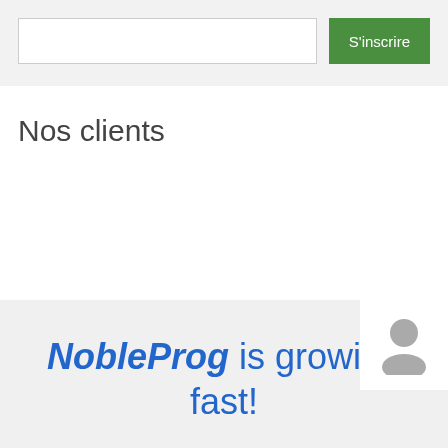[Figure (screenshot): Input field (text box) for user entry, empty, with a white background and border]
[Figure (screenshot): Green button labeled S'inscrire (Sign up in French)]
Nos clients
NobleProg is growing fast!